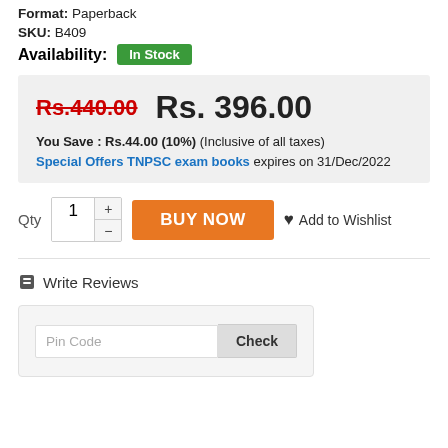Format: Paperback
SKU: B409
Availability: In Stock
Rs.440.00  Rs. 396.00  You Save : Rs.44.00 (10%) (Inclusive of all taxes)  Special Offers TNPSC exam books expires on 31/Dec/2022
[Figure (other): Quantity selector with +/- buttons showing 1, BUY NOW orange button, Add to Wishlist link]
Write Reviews
[Figure (other): Pin Code input field with Check button inside a light gray box]